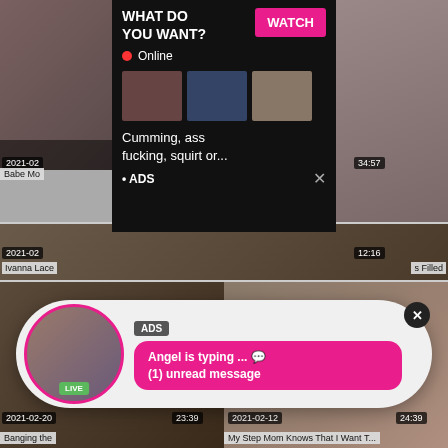[Figure (screenshot): Adult video thumbnail grid with overlay advertisements. Top-left: video thumbnail with timestamp 2021-02, label 'Babe Mo...'. Center-top: adult video thumbnail. Top-right: video thumbnail with timestamp 34:57. Overlay ad popup (dark background): 'WHAT DO YOU WANT?' header with pink WATCH button, red Online indicator, three small thumbnail images, text 'Cumming, ass fucking, squirt or...', ADS label, X close button. Middle row: wide thumbnail with timestamp 2021-02 left, 12:16 right, labels 'Ivanna Lace...' and '...s Filled'. Pill-shaped ad overlay: circular avatar with LIVE badge, ADS tag, pink bubble 'Angel is typing ... (emoji)' and '(1) unread message', X close button. Bottom-left: video thumbnail with 2021-02-20 date and 23:39 duration. Bottom-right: video thumbnail with 2021-02-12 date and 24:39 duration. Bottom labels: 'Banging the...' and 'My Step Mom Knows That I Want T...']
WHAT DO YOU WANT?
WATCH
Online
Cumming, ass fucking, squirt or...
• ADS
ADS
Angel is typing ... 💬
(1) unread message
LIVE
Babe Mo
2021-02
34:57
Ivanna Lace
s Filled
12:16
2021-02-20
23:39
2021-02-12
24:39
Banging the
My Step Mom Knows That I Want T...